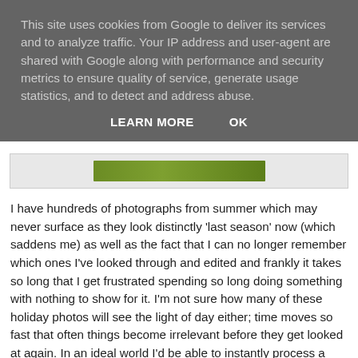This site uses cookies from Google to deliver its services and to analyze traffic. Your IP address and user-agent are shared with Google along with performance and security metrics to ensure quality of service, generate usage statistics, and to detect and address abuse.
LEARN MORE    OK
[Figure (photo): Partial view of a green-colored image strip, appears to be a nature or landscape photo cropped at the bottom of the cookie banner overlay]
I have hundreds of photographs from summer which may never surface as they look distinctly 'last season' now (which saddens me) as well as the fact that I can no longer remember which ones I've looked through and edited and frankly it takes so long that I get frustrated spending so long doing something with nothing to show for it. I'm not sure how many of these holiday photos will see the light of day either; time moves so fast that often things become irrelevant before they get looked at again. In an ideal world I'd be able to instantly process a day's photographs within a few hours and share them the next morning with all the details still hot off the press, but that's just a pipe dream.